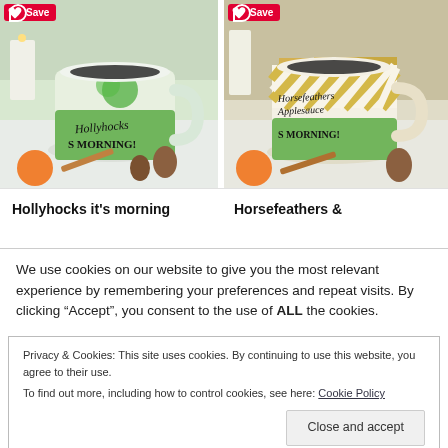[Figure (photo): Product photo of a coffee mug with green clover design and 'Hollyhocks & MORNING!' text, with a Pinterest Save badge in top left]
[Figure (photo): Product photo of a coffee mug with gold diagonal stripes and 'Horsefeathers Applesauce & MORNING!' text, with a Pinterest Save badge in top left]
Hollyhocks it's morning
Horsefeathers &
We use cookies on our website to give you the most relevant experience by remembering your preferences and repeat visits. By clicking "Accept", you consent to the use of ALL the cookies.
Privacy & Cookies: This site uses cookies. By continuing to use this website, you agree to their use.
To find out more, including how to control cookies, see here: Cookie Policy
Close and accept